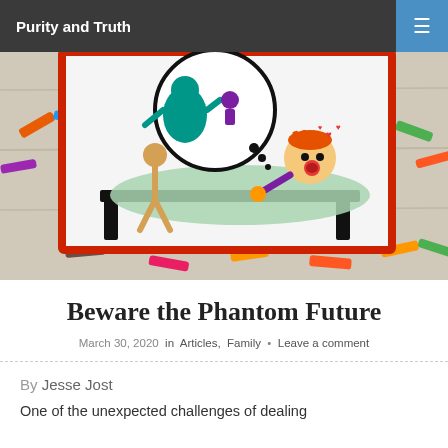Purity and Truth
[Figure (photo): Child's crayon drawing of a figure in bed having a nightmare, with monsters in a dream bubble above, surrounded by scattered crayons on a wooden surface]
Beware the Phantom Future
March 30, 2020  in  Articles,  Family  •  Leave a comment
By Jesse Jost
One of the unexpected challenges of dealing